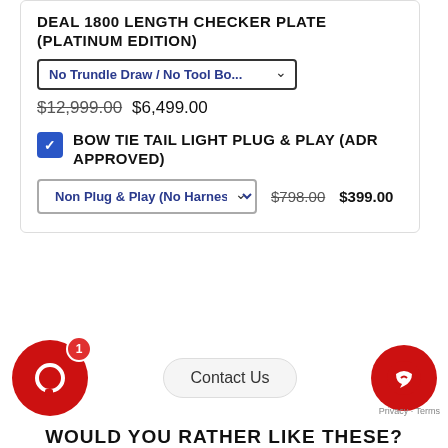DEAL 1800 LENGTH CHECKER PLATE (PLATINUM EDITION)
No Trundle Draw / No Tool Box [dropdown]
$12,999.00  $6,499.00
BOW TIE TAIL LIGHT PLUG & PLAY (ADR APPROVED) [checked]
Non Plug & Play (No Harness) [dropdown]  $798.00  $399.00
Contact Us
WOULD YOU RATHER LIKE THESE?